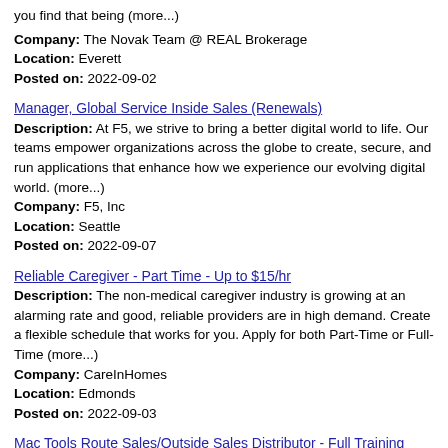you find that being (more...)
Company: The Novak Team @ REAL Brokerage
Location: Everett
Posted on: 2022-09-02
Manager, Global Service Inside Sales (Renewals)
Description: At F5, we strive to bring a better digital world to life. Our teams empower organizations across the globe to create, secure, and run applications that enhance how we experience our evolving digital world. (more...)
Company: F5, Inc
Location: Seattle
Posted on: 2022-09-07
Reliable Caregiver - Part Time - Up to $15/hr
Description: The non-medical caregiver industry is growing at an alarming rate and good, reliable providers are in high demand. Create a flexible schedule that works for you. Apply for both Part-Time or Full-Time (more...)
Company: CareInHomes
Location: Edmonds
Posted on: 2022-09-03
Mac Tools Route Sales/Outside Sales Distributor - Full Training
Description: Build a Great Career and a Quality Life with Mac Tools. Feel the freedom and independence of working on your